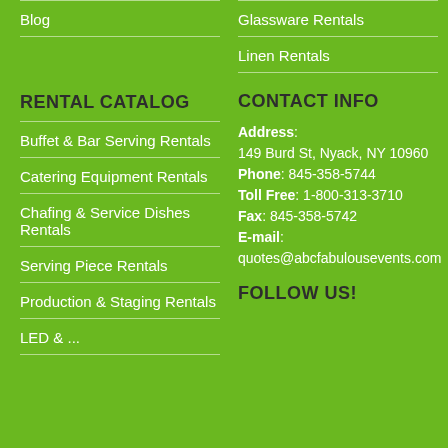Blog
Glassware Rentals
Linen Rentals
RENTAL CATALOG
CONTACT INFO
Buffet & Bar Serving Rentals
Address: 149 Burd St, Nyack, NY 10960
Phone: 845-358-5744
Toll Free: 1-800-313-3710
Fax: 845-358-5742
E-mail: quotes@abcfabulousevents.com
Catering Equipment Rentals
Chafing & Service Dishes Rentals
Serving Piece Rentals
Production & Staging Rentals
LED & ...
FOLLOW US!